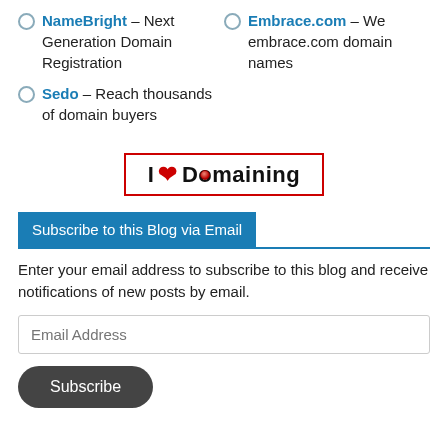NameBright – Next Generation Domain Registration
Embrace.com – We embrace.com domain names
Sedo – Reach thousands of domain buyers
[Figure (logo): I Love Domaining logo with red heart and red dot in the O, inside a red border rectangle]
Subscribe to this Blog via Email
Enter your email address to subscribe to this blog and receive notifications of new posts by email.